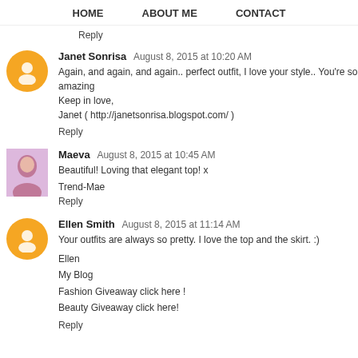HOME   ABOUT ME   CONTACT
Reply
Janet Sonrisa  August 8, 2015 at 10:20 AM
Again, and again, and again.. perfect outfit, I love your style.. You're so amazing
Keep in love,
Janet ( http://janetsonrisa.blogspot.com/ )
Reply
Maeva  August 8, 2015 at 10:45 AM
Beautiful! Loving that elegant top! x
Trend-Mae
Reply
Ellen Smith  August 8, 2015 at 11:14 AM
Your outfits are always so pretty. I love the top and the skirt. :)
Ellen
My Blog
Fashion Giveaway click here !
Beauty Giveaway click here!
Reply